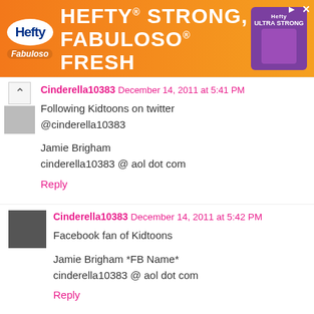[Figure (screenshot): Hefty Strong Fabuloso Fresh advertisement banner in orange]
Cinderella10383  December 14, 2011 at 5:41 PM
Following Kidtoons on twitter @cinderella10383

Jamie Brigham
cinderella10383 @ aol dot com
Reply
Cinderella10383  December 14, 2011 at 5:42 PM
Facebook fan of Kidtoons

Jamie Brigham *FB Name*
cinderella10383 @ aol dot com
Reply
Cinderella10383  December 14, 2011 at 5:43 PM